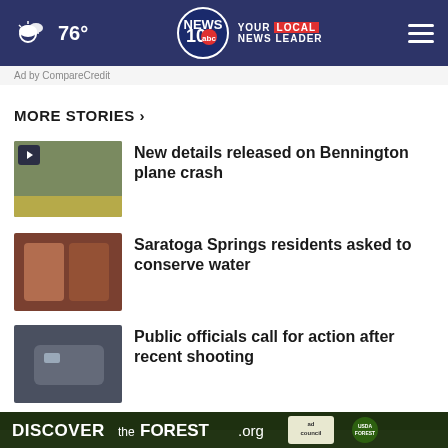76° NEWS 10 YOUR LOCAL NEWS LEADER
Ad by CompareCredit
MORE STORIES ›
New details released on Bennington plane crash
Saratoga Springs residents asked to conserve water
Public officials call for action after recent shooting
Elks Lodge fundraiser supports Saratoga EMS Council
Several New York hunting seasons
[Figure (screenshot): DISCOVERtheFOREST.org ad banner with ad council and USFS logos]